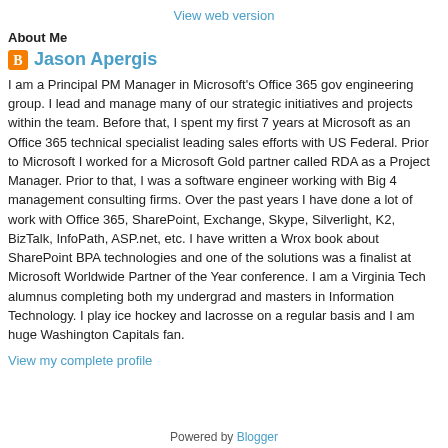View web version
About Me
Jason Apergis
I am a Principal PM Manager in Microsoft's Office 365 gov engineering group. I lead and manage many of our strategic initiatives and projects within the team. Before that, I spent my first 7 years at Microsoft as an Office 365 technical specialist leading sales efforts with US Federal. Prior to Microsoft I worked for a Microsoft Gold partner called RDA as a Project Manager. Prior to that, I was a software engineer working with Big 4 management consulting firms. Over the past years I have done a lot of work with Office 365, SharePoint, Exchange, Skype, Silverlight, K2, BizTalk, InfoPath, ASP.net, etc. I have written a Wrox book about SharePoint BPA technologies and one of the solutions was a finalist at Microsoft Worldwide Partner of the Year conference. I am a Virginia Tech alumnus completing both my undergrad and masters in Information Technology. I play ice hockey and lacrosse on a regular basis and I am huge Washington Capitals fan.
View my complete profile
Powered by Blogger